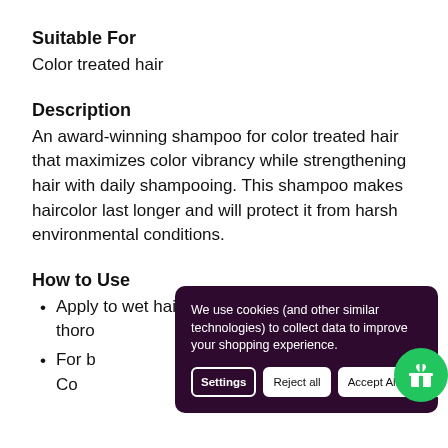Suitable For
Color treated hair
Description
An award-winning shampoo for color treated hair that maximizes color vibrancy while strengthening hair with daily shampooing. This shampoo makes haircolor last longer and will protect it from harsh environmental conditions.
How to Use
Apply to wet hair. Massage into a lather. Rinse thoroughly.
For best results, follow with Conditioner or Co...
Key Ingredients
We use cookies (and other similar technologies) to collect data to improve your shopping experience.